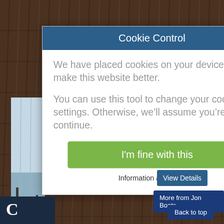[Figure (screenshot): Wood plank background texture, dark brown]
Cookie Control
We have placed cookies on your device to help make this website better.
You can use this tool to change your cookie settings. Otherwise, we’ll assume you’re OK to continue.
I'm fine with this
Information and Settings
[Figure (photo): Jon boat resting in dry reeds/marsh grass]
View Details
More from Jon Boats
Back to top
C